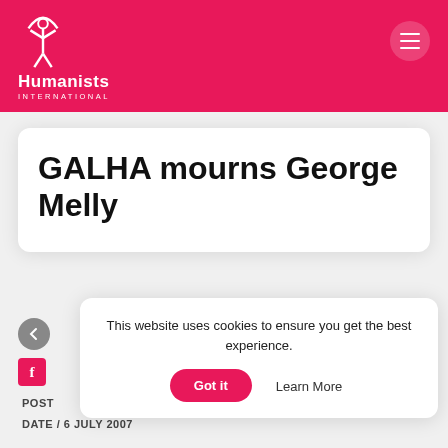[Figure (logo): Humanists International logo — white figure with raised arms inside a circle arc, with text 'Humanists' in large bold white and 'INTERNATIONAL' in small white caps below, on a pink/magenta background]
GALHA mourns George Melly
This website uses cookies to ensure you get the best experience.
Got it   Learn More
POST
DATE / 6 JULY 2007